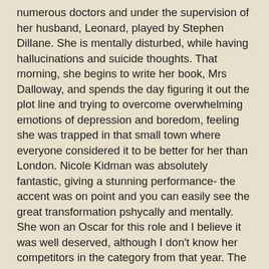numerous doctors and under the supervision of her husband, Leonard, played by Stephen Dillane. She is mentally disturbed, while having hallucinations and suicide thoughts. That morning, she begins to write her book, Mrs Dalloway, and spends the day figuring it out the plot line and trying to overcome overwhelming emotions of depression and boredom, feeling she was trapped in that small town where everyone considered it to be better for her than London. Nicole Kidman was absolutely fantastic, giving a stunning performance- the accent was on point and you can easily see the great transformation pshycally and mentally. She won an Oscar for this role and I believe it was well deserved, although I don't know her competitors in the category from that year. The husband also gave a surprisingly good performance, which was reserved, but full of love and concern, and it was nice to see Miranda Richardson as the sister.
The second story follows Laura McGrath- Brown, a seemingly happy wife and mother of one, plus one on the way, living in 1951 Los Angeles. Although she has a good life, a loving husband(John C.Reilly) and a lovely boy, she is